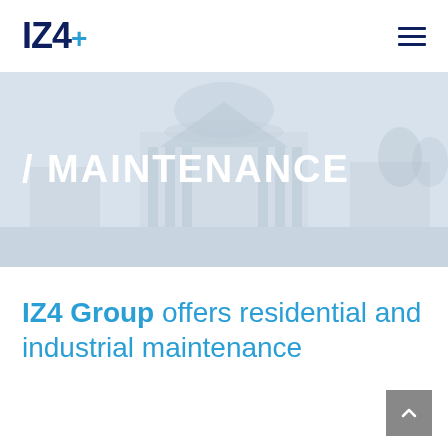[Figure (logo): IZ4+ logo in dark navy blue bold text with a blue plus sign]
[Figure (illustration): Hero banner with faded building/architecture illustration in light blue-grey tones]
/ MAINTENANCE
IZ4 Group offers residential and industrial maintenance